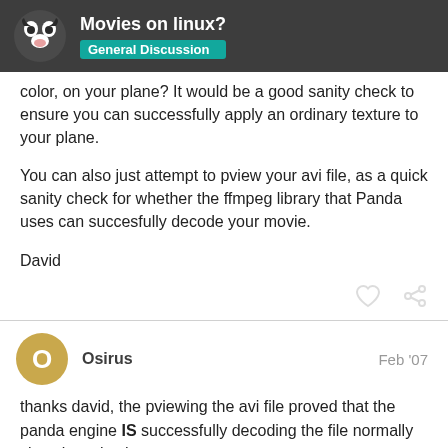Movies on linux? — General Discussion
color, on your plane? It would be a good sanity check to ensure you can successfully apply an ordinary texture to your plane.
You can also just attempt to pview your avi file, as a quick sanity check for whether the ffmpeg library that Panda uses can succesfully decode your movie.
David
Osirus   Feb '07
thanks david, the pviewing the avi file proved that the panda engine IS successfully decoding the file normally since it works there.
And after applying an ordinary texture